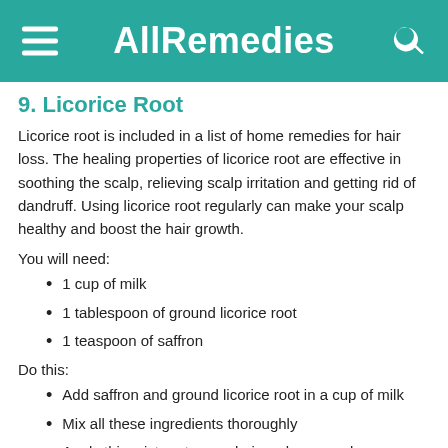AllRemedies
9. Licorice Root
Licorice root is included in a list of home remedies for hair loss. The healing properties of licorice root are effective in soothing the scalp, relieving scalp irritation and getting rid of dandruff. Using licorice root regularly can make your scalp healthy and boost the hair growth.
You will need:
1 cup of milk
1 tablespoon of ground licorice root
1 teaspoon of saffron
Do this:
Add saffron and ground licorice root in a cup of milk
Mix all these ingredients thoroughly
Apply this mixture to your hair and your scalp